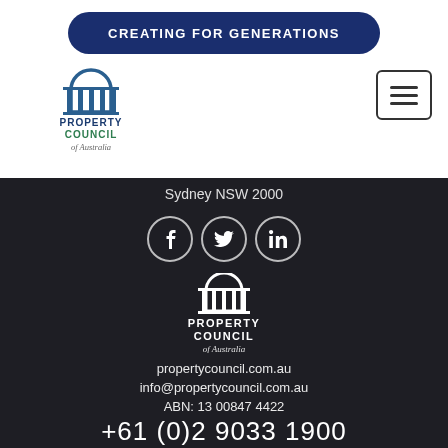[Figure (other): CTA button with text CREATING FOR GENERATIONS on dark navy rounded rectangle]
[Figure (logo): Property Council of Australia logo, top left]
[Figure (other): Hamburger menu icon button, top right]
Sydney NSW 2000
[Figure (other): Social media icons: Facebook, Twitter, LinkedIn in white circles on dark background]
[Figure (logo): Property Council of Australia logo in white, footer]
propertycouncil.com.au
info@propertycouncil.com.au
ABN: 13 00847 4422
+61 (0)2 9033 1900